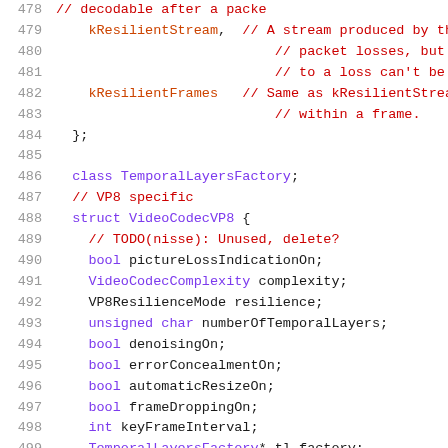[Figure (screenshot): Source code screenshot showing C++ code lines 478–499, with syntax highlighting. Line numbers in gray, keywords in purple, comments in red, identifiers in dark/black. Shows enum members kResilientStream and kResilientFrames with comments, closing brace of enum, class TemporalLayersFactory declaration, VP8 specific comment, struct VideoCodecVP8 definition with member variables including bool pictureLossIndicationOn, VideoCodecComplexity complexity, VP8ResilienceMode resilience, unsigned char numberOfTemporalLayers, bool denoisingOn, bool errorConcealmentOn, bool automaticResizeOn, bool frameDroppingOn, int keyFrameInterval, and TemporalLayersFactory* tl_factory.]